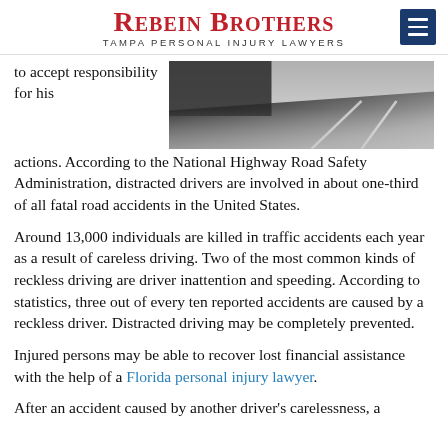Rebein Brothers — Tampa Personal Injury Lawyers
[Figure (photo): Black and white photo of a road/street surface viewed from low angle]
to accept responsibility for his actions. According to the National Highway Road Safety Administration, distracted drivers are involved in about one-third of all fatal road accidents in the United States.
Around 13,000 individuals are killed in traffic accidents each year as a result of careless driving. Two of the most common kinds of reckless driving are driver inattention and speeding. According to statistics, three out of every ten reported accidents are caused by a reckless driver. Distracted driving may be completely prevented.
Injured persons may be able to recover lost financial assistance with the help of a Florida personal injury lawyer.
After an accident caused by another driver's carelessness, a